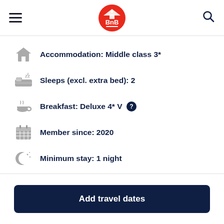BnB
Accommodation: Middle class 3*
Sleeps (excl. extra bed): 2
Breakfast: Deluxe 4* V
Member since: 2020
Minimum stay: 1 night
Add travel dates